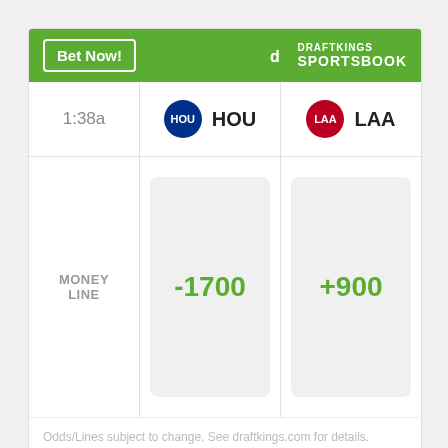[Figure (infographic): DraftKings Sportsbook betting widget showing HOU vs LAA money line odds. HOU: -1700, LAA: +900. Game time: 1:38a.]
Odds/Lines subject to change. See draftkings.com for details.